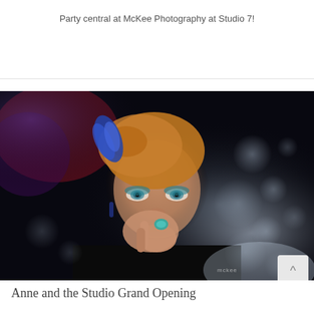Party central at McKee Photography at Studio 7!
[Figure (photo): Portrait photograph of a woman with reddish-blonde hair pulled up with blue feather/fabric accessory, dramatic teal eye makeup, holding her hand to her mouth displaying a turquoise ring. Dark studio background with bokeh light effects in blue and white tones. McKee watermark in lower right corner.]
Anne and the Studio Grand Opening